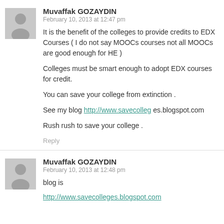[Figure (illustration): Gray placeholder avatar icon for first comment (person silhouette)]
Muvaffak GOZAYDIN
February 10, 2013 at 12:47 pm
It is the benefit of the colleges to provide credits to EDX Courses ( I do not say MOOCs courses not all MOOCs are good enough for HE )
Colleges must be smart enough to adopt EDX courses for credit.
You can save your college from extinction .
See my blog http://www.savecolleges.blogspot.com
Rush rush to save your college .
Reply
[Figure (illustration): Gray placeholder avatar icon for second comment (person silhouette)]
Muvaffak GOZAYDIN
February 10, 2013 at 12:48 pm
blog is
http://www.savecolleges.blogspot.com